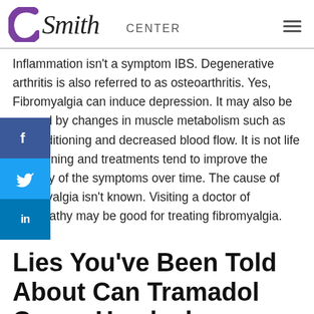Smith CENTER
Inflammation isn't a symptom IBS. Degenerative arthritis is also referred to as osteoarthritis. Yes, Fibromyalgia can induce depression. It may also be caused by changes in muscle metabolism such as deconditioning and decreased blood flow. It is not life threatening and treatments tend to improve the severity of the symptoms over time. The cause of fibromyalgia isn't known. Visiting a doctor of osteopathy may be good for treating fibromyalgia.
Lies You've Been Told About Can Tramadol Cause Headaches
The experience of pain will help to prevent the situations which could damage body parts. A good deal of times, you